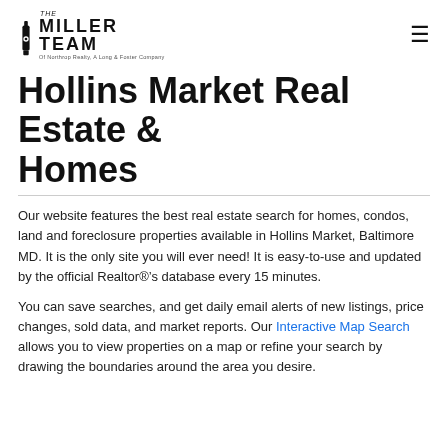THE MILLER TEAM Of Northrop Realty, A Long & Foster Company
Hollins Market Real Estate & Homes
Our website features the best real estate search for homes, condos, land and foreclosure properties available in Hollins Market, Baltimore MD. It is the only site you will ever need! It is easy-to-use and updated by the official Realtor®’s database every 15 minutes.
You can save searches, and get daily email alerts of new listings, price changes, sold data, and market reports. Our Interactive Map Search allows you to view properties on a map or refine your search by drawing the boundaries around the area you desire.